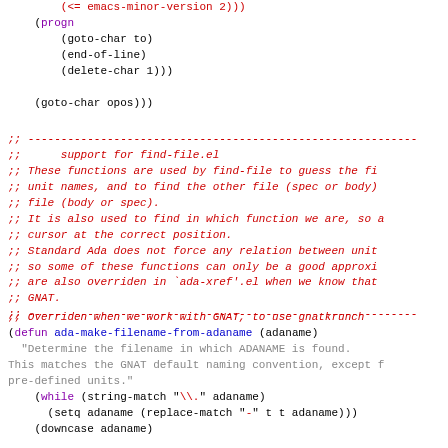(<= emacs-minor-version 2)))
    (progn
        (goto-char to)
        (end-of-line)
        (delete-char 1)))

    (goto-char opos)))
;; -----------------------------------------------------------
;; support for find-file.el
;; These functions are used by find-file to guess the fi
;; unit names, and to find the other file (spec or body)
;; file (body or spec).
;; It is also used to find in which function we are, so a
;; cursor at the correct position.
;; Standard Ada does not force any relation between unit
;; so some of these functions can only be a good approxi
;; are also overriden in `ada-xref'.el when we know that
;; GNAT.
;; -----------------------------------------------------------
;; Overriden when we work with GNAT, to use gnatkrunch
(defun ada-make-filename-from-adaname (adaname)
  "Determine the filename in which ADANAME is found.
This matches the GNAT default naming convention, except f
pre-defined units."
    (while (string-match "\\." adaname)
      (setq adaname (replace-match "-" t t adaname)))
    (downcase adaname)